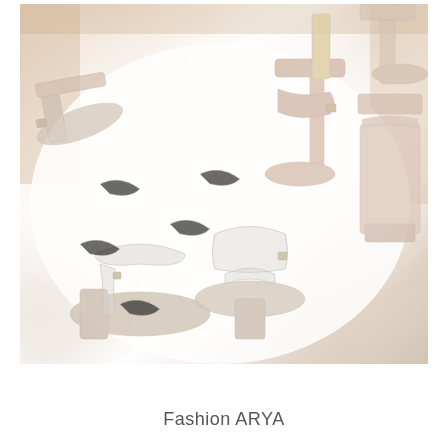[Figure (photo): Flatlay photograph of multiple women's sandals and heeled shoes in nude, beige, and champagne tones arranged on a white fluffy fur rug. Shoes include strappy heeled sandals, block-heel sandals, and metallic styles with clear PVC straps.]
Fashion ARYA